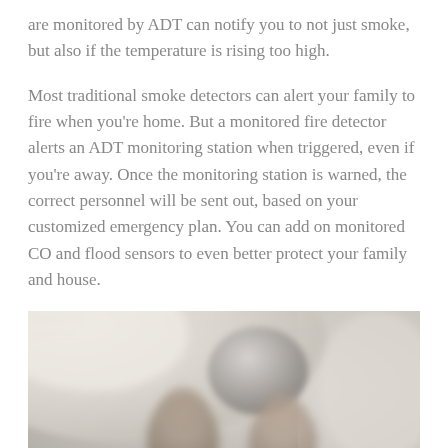are monitored by ADT can notify you to not just smoke, but also if the temperature is rising too high.
Most traditional smoke detectors can alert your family to fire when you're home. But a monitored fire detector alerts an ADT monitoring station when triggered, even if you're away. Once the monitoring station is warned, the correct personnel will be sent out, based on your customized emergency plan. You can add on monitored CO and flood sensors to even better protect your family and house.
[Figure (photo): Blurry photo of children playing under a blanket/sheet fort, with a gray rounded object visible, light background on the right side]